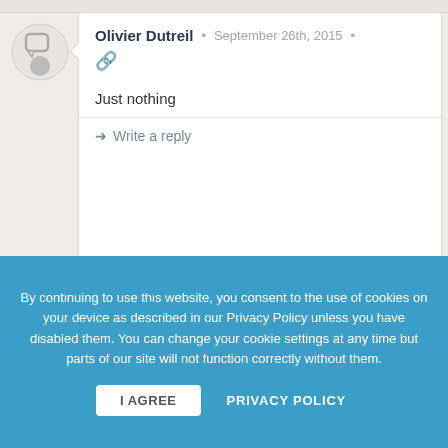Olivier Dutreil • September 26th, 2015 •
Just nothing
➜ Write a reply
Juanki Juan Carlos • September 26th, 2015
By continuing to use this website, you consent to the use of cookies on your device as described in our Privacy Policy unless you have disabled them. You can change your cookie settings at any time but parts of our site will not function correctly without them.
I AGREE
PRIVACY POLICY